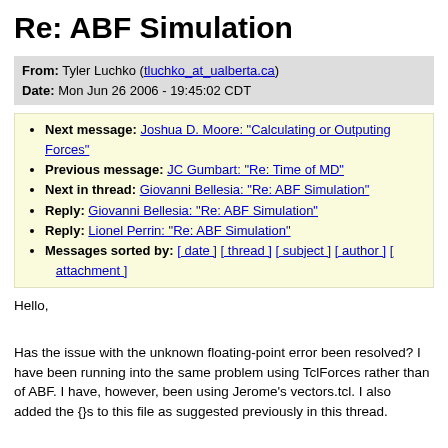Re: ABF Simulation
From: Tyler Luchko (tluchko_at_ualberta.ca)
Date: Mon Jun 26 2006 - 19:45:02 CDT
Next message: Joshua D. Moore: "Calculating or Outputing Forces"
Previous message: JC Gumbart: "Re: Time of MD"
Next in thread: Giovanni Bellesia: "Re: ABF Simulation"
Reply: Giovanni Bellesia: "Re: ABF Simulation"
Reply: Lionel Perrin: "Re: ABF Simulation"
Messages sorted by: [ date ] [ thread ] [ subject ] [ author ] [ attachment ]
Hello,

Has the issue with the unknown floating-point error been resolved? I have been running into the same problem using TclForces rather than of ABF. I have, however, been using Jerome's vectors.tcl. I also added the {}s to this file as suggested previously in this thread.